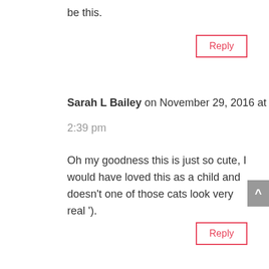be this.
Reply
Sarah L Bailey on November 29, 2016 at 2:39 pm
Oh my goodness this is just so cute, I would have loved this as a child and doesn’t one of those cats look very real ’).
Reply